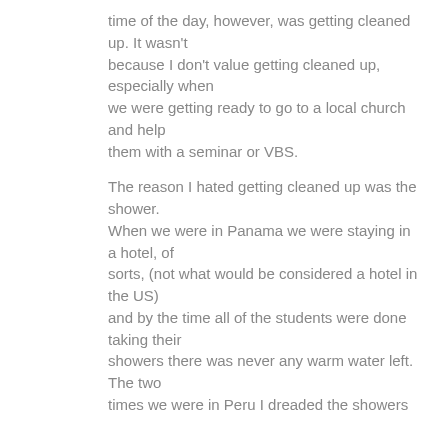time of the day, however, was getting cleaned up. It wasn't because I don't value getting cleaned up, especially when we were getting ready to go to a local church and help them with a seminar or VBS.
The reason I hated getting cleaned up was the shower. When we were in Panama we were staying in a hotel, of sorts, (not what would be considered a hotel in the US) and by the time all of the students were done taking their showers there was never any warm water left. The two times we were in Peru I dreaded the showers